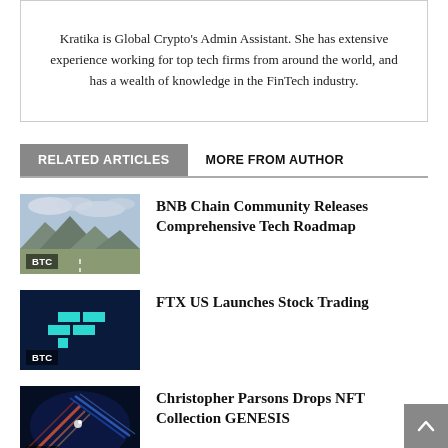Kratika is Global Crypto’s Admin Assistant. She has extensive experience working for top tech firms from around the world, and has a wealth of knowledge in the FinTech industry.
RELATED ARTICLES
MORE FROM AUTHOR
[Figure (photo): Road leading into mountains under cloudy sky]
BTC
BNB Chain Community Releases Comprehensive Tech Roadmap
[Figure (photo): Blue background with FTX logo blocks in teal]
BTC
FTX US Launches Stock Trading
[Figure (photo): Dark blue background with colorful digital light streaks]
BTC
Christopher Parsons Drops NFT Collection GENESIS